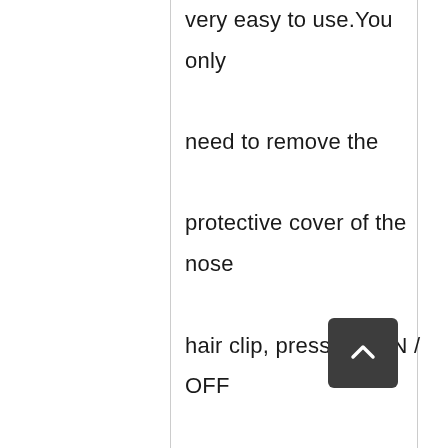very easy to use.You only need to remove the protective cover of the nose hair clip, press the ON / OFF switch, you can trim the nose hair. Nose hair trimmer battery operation. This nose hair trimmer can be used with just 2 AA batteries, which is a very affordable way to meet your daily trimming needs. At the